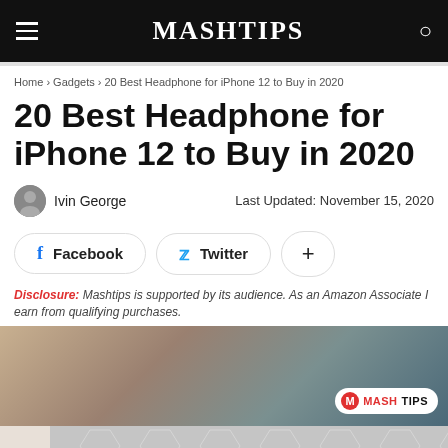MASHTIPS
Home › Gadgets › 20 Best Headphone for iPhone 12 to Buy in 2020
20 Best Headphone for iPhone 12 to Buy in 2020
Ivin George   Last Updated: November 15, 2020
Facebook   Twitter   +
Disclosure: Mashtips is supported by its audience. As an Amazon Associate I earn from qualifying purchases.
[Figure (photo): Person wearing white headphones, with Mashtips watermark logo in bottom right corner]